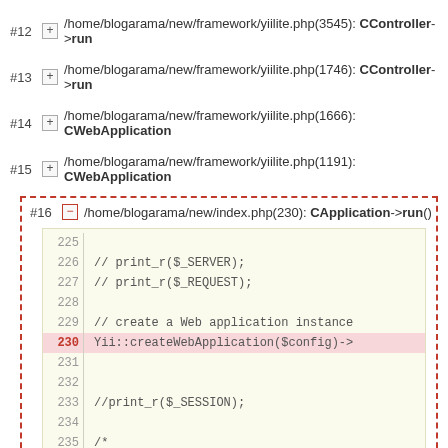#12  + /home/blogarama/new/framework/yiilite.php(3545): CController->run
#13  + /home/blogarama/new/framework/yiilite.php(1746): CController->run
#14  + /home/blogarama/new/framework/yiilite.php(1666): CWebApplication
#15  + /home/blogarama/new/framework/yiilite.php(1191): CWebApplication
#16  - /home/blogarama/new/index.php(230): CApplication->run()
[Figure (screenshot): Code block showing lines 225-235 of index.php, with line 230 highlighted in pink: Yii::createWebApplication($config)->]
2022-09-02 19:39:45 Apache/2.4.6 (CentOS) PHP/7.0.23 Yii Framework/1.1.14